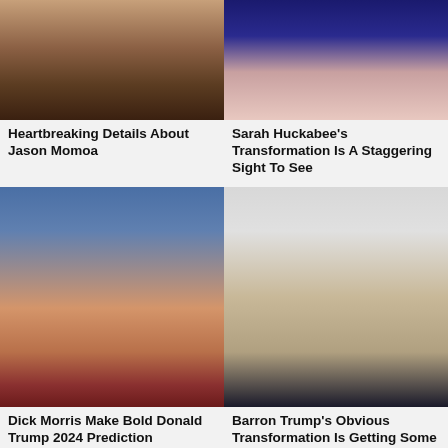[Figure (photo): Close-up photo of Jason Momoa with long hair and beard]
[Figure (photo): Close-up photo of Sarah Huckabee Sanders]
Heartbreaking Details About Jason Momoa
Sarah Huckabee's Transformation Is A Staggering Sight To See
[Figure (photo): Photo of Donald Trump smiling with fist raised]
[Figure (photo): Photo of Barron Trump as a young man in suit]
Dick Morris Make Bold Donald Trump 2024 Prediction
Barron Trump's Obvious Transformation Is Getting Some Attention
[Figure (photo): Partial photo bottom left]
[Figure (photo): Partial photo bottom right]